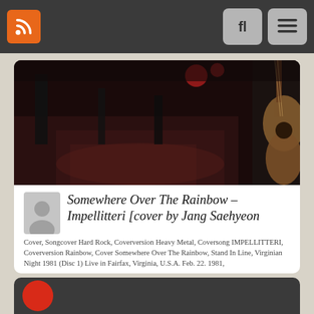Navigation bar with RSS button, search button, and menu button
[Figure (photo): Dark concert/music photo showing stage floor, equipment, and guitar neck on right side]
Somewhere Over The Rainbow – Impellitteri [cover by Jang Saehyeon
Cover, Songcover Hard Rock, Coverversion Heavy Metal, Coversong IMPELLITTERI, Coverversion Rainbow, Cover Somewhere Over The Rainbow, Stand In Line, Virginian Night 1981 (Disc 1) Live in Fairfax, Virginia, U.S.A. Feb. 22. 1981,
LunarJazzCompany https://www.facebook.com/profile.php?id=100005047788746 https://www.facebook.com/lunarjazzcompany/ playing gear Trademark 60 …
♡ 0
[Figure (photo): Partial card showing dark background with red circle element at bottom of page]